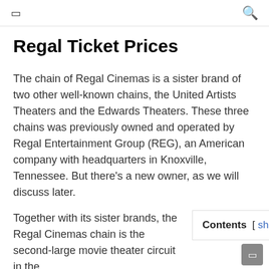☰  🔍
Regal Ticket Prices
The chain of Regal Cinemas is a sister brand of two other well-known chains, the United Artists Theaters and the Edwards Theaters. These three chains was previously owned and operated by Regal Entertainment Group (REG), an American company with headquarters in Knoxville, Tennessee. But there's a new owner, as we will discuss later.
Together with its sister brands, the Regal Cinemas chain is the second-large movie theater circuit in the
Contents [ show ]